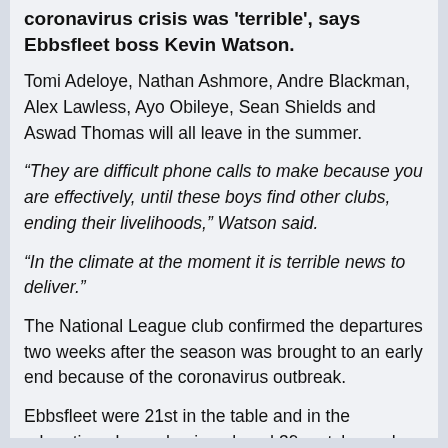coronavirus crisis was 'terrible', says Ebbsfleet boss Kevin Watson.
Tomi Adeloye, Nathan Ashmore, Andre Blackman, Alex Lawless, Ayo Obileye, Sean Shields and Aswad Thomas will all leave in the summer.
“They are difficult phone calls to make because you are effectively, until these boys find other clubs, ending their livelihoods,” Watson said.
“In the climate at the moment it is terrible news to deliver.”
The National League club confirmed the departures two weeks after the season was brought to an early end because of the coronavirus outbreak.
Ebbsfleet were 21st in the table and in the relegation places, having played 39 matches, when the campaign was halted.